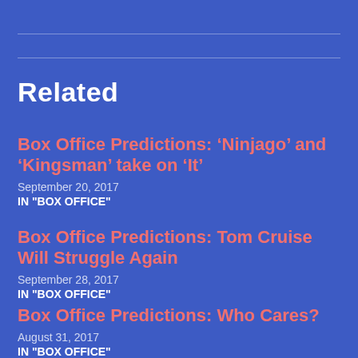Related
Box Office Predictions: ‘Ninjago’ and ‘Kingsman’ take on ‘It’
September 20, 2017
IN "BOX OFFICE"
Box Office Predictions: Tom Cruise Will Struggle Again
September 28, 2017
IN "BOX OFFICE"
Box Office Predictions: Who Cares?
August 31, 2017
IN "BOX OFFICE"